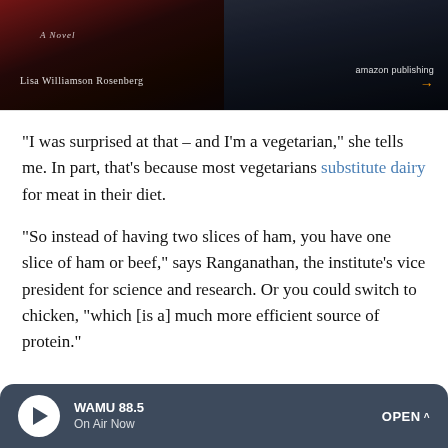[Figure (illustration): Amazon Publishing book advertisement banner showing a novel by Lisa Williamson Rosenberg with dark atmospheric imagery — left side has warm reddish tones, right side shows a dark house at night with a lit window. Text reads 'A Novel', 'Lisa Williamson Rosenberg', and 'amazon publishing' with logo.]
"I was surprised at that – and I'm a vegetarian," she tells me. In part, that's because most vegetarians substitute dairy for meat in their diet.
"So instead of having two slices of ham, you have one slice of ham or beef," says Ranganathan, the institute's vice president for science and research. Or you could switch to chicken, "which [is a] much more efficient source of protein."
WAMU 88.5  On Air Now  OPEN ^